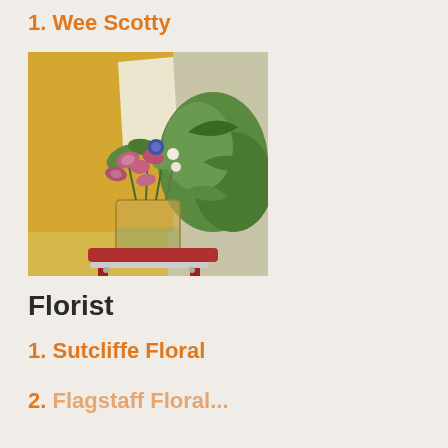1. Wee Scotty
[Figure (photo): Floral arrangement with pink orchids, blue thistle, white flowers, and greenery in a glass vase sitting on a red stool, with a yellow chair and plants in the background.]
Florist
1. Sutcliffe Floral
2. Flagstaff Floral...